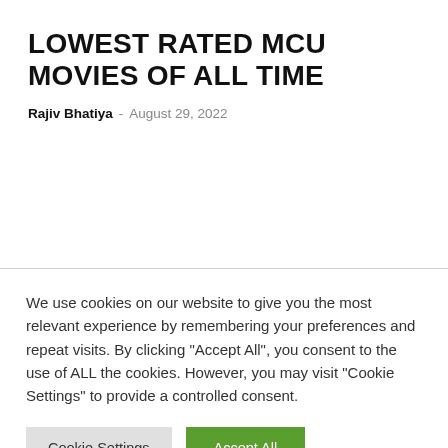LOWEST RATED MCU MOVIES OF ALL TIME
Rajiv Bhatiya  -  August 29, 2022
We use cookies on our website to give you the most relevant experience by remembering your preferences and repeat visits. By clicking "Accept All", you consent to the use of ALL the cookies. However, you may visit "Cookie Settings" to provide a controlled consent.